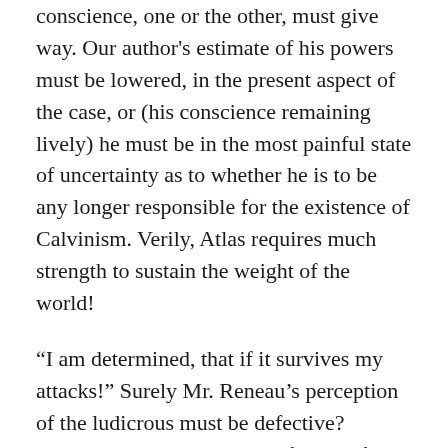conscience, one or the other, must give way. Our author's estimate of his powers must be lowered, in the present aspect of the case, or (his conscience remaining lively) he must be in the most painful state of uncertainty as to whether he is to be any longer responsible for the existence of Calvinism. Verily, Atlas requires much strength to sustain the weight of the world!
“I am determined, that if it survives my attacks!” Surely Mr. Reneau’s perception of the ludicrous must be defective? Calvinism has never heard of him before, and if its advocates ever think of him hereafter, it will never be in a connection flattering to his vanity!
We confidently believe that no publication in the language of the same length, contains as great an